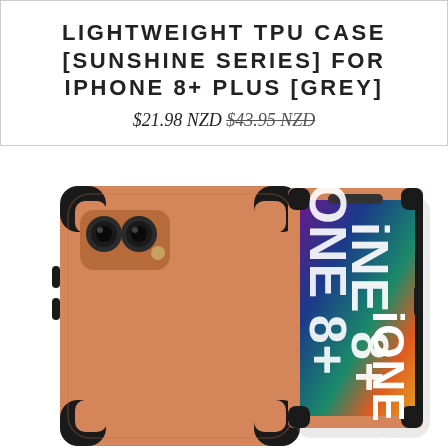LIGHTWEIGHT TPU CASE [SUNSHINE SERIES] FOR IPHONE 8+ PLUS [GREY]
$21.98 NZD $43.95 NZD
[Figure (photo): Orange/tan TPU protective phone case for iPhone 8+ shown from two angles: back view showing orange matte finish with dual camera cutout and black reinforced corners, and front/side view showing the phone screen with iPhone 8+ branding visible in white text on a colorful display background.]